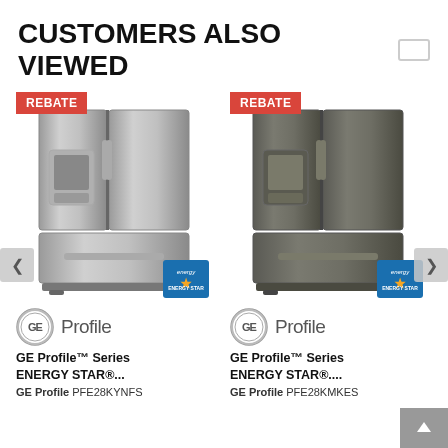CUSTOMERS ALSO VIEWED
[Figure (photo): Silver stainless steel GE Profile french door refrigerator with REBATE badge and ENERGY STAR logo]
[Figure (logo): GE Profile logo - gear circle icon with Profile text]
GE Profile™ Series ENERGY STAR®...
GE Profile PFE28KYNFS
[Figure (photo): Slate/dark grey GE Profile french door refrigerator with REBATE badge and ENERGY STAR logo]
[Figure (logo): GE Profile logo - gear circle icon with Profile text]
GE Profile™ Series ENERGY STAR®....
GE Profile PFE28KMKES